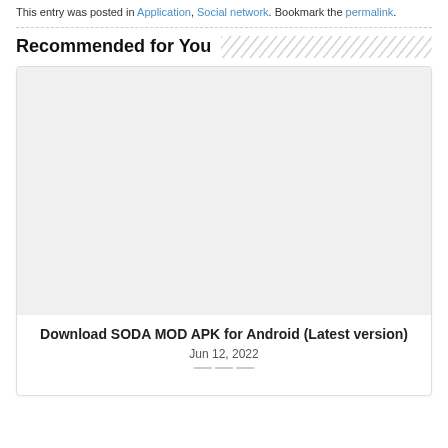This entry was posted in Application, Social network. Bookmark the permalink.
Recommended for You
[Figure (other): Card with a light gray placeholder image area, article title 'Download SODA MOD APK for Android (Latest version)', date 'Jun 12, 2022', and a decorative dotted line]